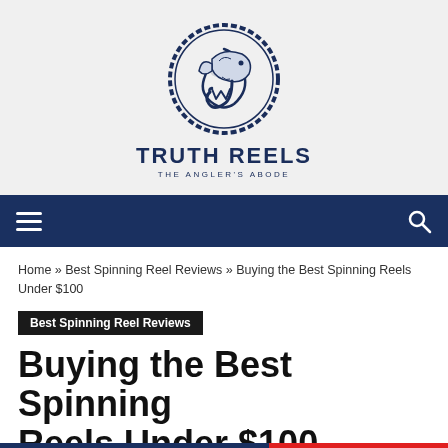[Figure (logo): Truth Reels logo: circular rope border with a fish and fishing hook illustration in navy blue, above text TRUTH REELS and THE ANGLER'S ABODE]
TRUTH REELS / THE ANGLER'S ABODE
Home » Best Spinning Reel Reviews » Buying the Best Spinning Reels Under $100
Best Spinning Reel Reviews
Buying the Best Spinning Reels Under $100
Thomas
June 17, 2017
127 Views